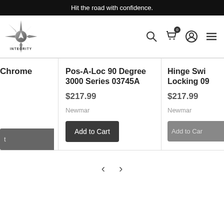Hit the road with confidence.
[Figure (logo): Integrity logo — compass/star badge graphic above the word INTEGRITY]
Chrome
Pos-A-Loc 90 Degree 3000 Series 03745A
$217.99
Newmar
Add to Cart
Hinge Swi... Locking 09...
$217.99
Newmar
Add to Car...